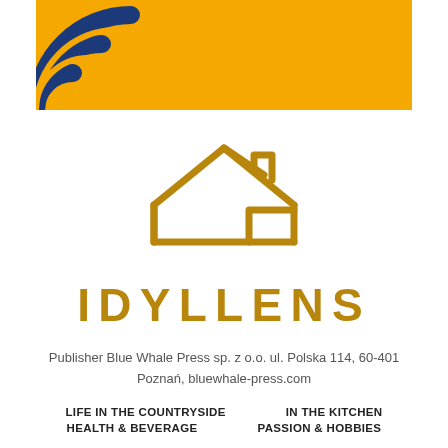[Figure (logo): Orange/yellow banner with blue concentric arc wifi-like logo in top-left corner]
[Figure (logo): Gold outline house icon logo for IDYLLENS brand]
IDYLLENS
Publisher Blue Whale Press sp. z o.o. ul. Polska 114, 60-401 Poznań, bluewhale-press.com
LIFE IN THE COUNTRYSIDE   IN THE KITCHEN
HEALTH & BEVERAGE   PASSION & HOBBIES